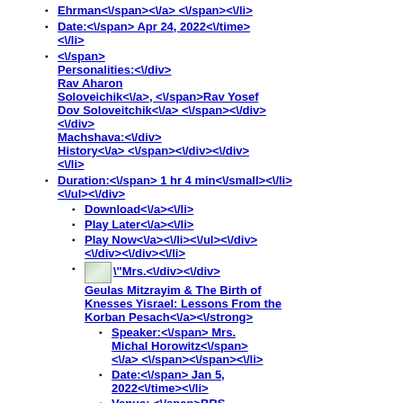Ehrman</span></a> </span></li>
Date:</span> Apr 24, 2022</time></li>
</span> Personalities:</div> Rav Aharon Soloveichik</a>, </span>Rav Yosef Dov Soloveitchik</a> </span></div></div> Machshava:</div> History</a> </span></div></div></li>
Duration:</span> 1 hr 4 min</small></li></ul></div>
Download</a></li>
Play Later</a></li>
Play Now</a></li></ul></div></div></div></li>
["Mrs.</div></div> Geulas Mitzrayim & The Birth of Knesses Yisrael: Lessons From the Korban Pesach</a></strong>
Speaker:</span> Mrs. Michal Horowitz</span></a> </span></span></li>
Date:</span> Jan 5, 2022</time></li>
Venue: </span>BRS Midrasha</span></a> </span> Personalities:</div> Rav Aharon Soloveichik</a> </span></div></div> Machshava:</div> Geulah</a>, </span>Pesach</a> </div></div> Parsha:</div> Bo</a> </span></div></div></li>
Duration:</span> 45 min</small></li></ul></div>